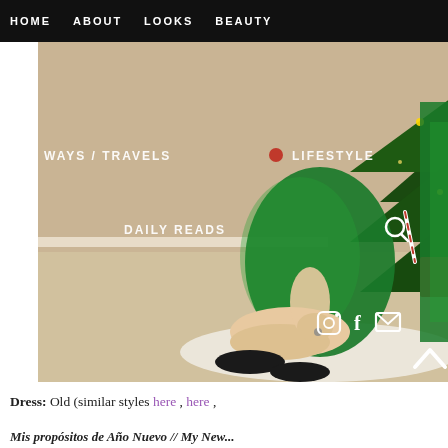HOME  ABOUT  LOOKS  BEAUTY
WAYS / TRAVELS  LIFESTYLE  DAILY READS
[Figure (photo): Woman in sparkling green sequin dress sitting on floor in front of decorated Christmas tree with gifts. Navigation overlay with WAYS / TRAVELS, LIFESTYLE, DAILY READS. Social icons (Instagram, Facebook, email). Scroll-up chevron arrow at bottom right.]
Dress: Old (similar styles here , here ,
Mis propósitos de Año Nuevo // My New...